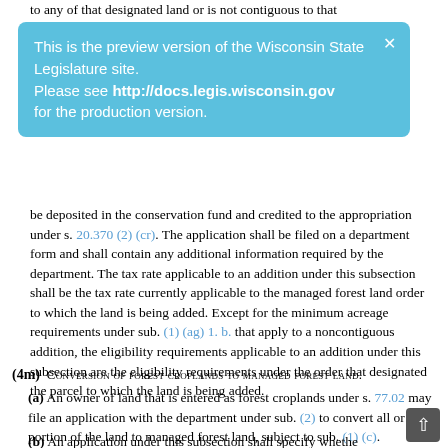to any of that designated land or is not contiguous to that designated land but meets the requirements under sub. (1)
[Figure (screenshot): Blue tooltip overlay reading: 'This is the preview version of the Wisconsin State Legislature site. Please see http://docs.legis.wisconsin.gov for the production version.' with a close X button.]
be deposited in the conservation fund and credited to the appropriation under s. 20.370 (2) (cr). The application shall be filed on a department form and shall contain any additional information required by the department. The tax rate applicable to an addition under this subsection shall be the tax rate currently applicable to the managed forest land order to which the land is being added. Except for the minimum acreage requirements under sub. (1) (ag) 1. b. that apply to a noncontiguous addition, the eligibility requirements applicable to an addition under this subsection are the eligibility requirements under the order that designated the parcel to which the land is being added.
(4m)  Conversion of forest croplands to managed forest land.
(a) An owner of land that is entered as forest croplands under s. 77.02 may file an application with the department under sub. (2) to convert all or a portion of the land to managed forest land, subject to sub. (1) (c).
(b) An application under this subsection shall specify whether the order designating the land as managed forest land w